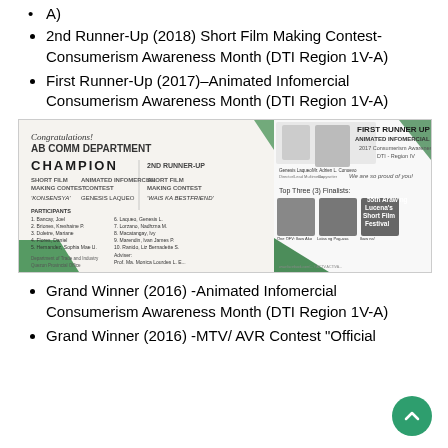A)
2nd Runner-Up (2018) Short Film Making Contest-Consumerism Awareness Month (DTI Region 1V-A)
First Runner-Up (2017)–Animated Infomercial Consumerism Awareness Month (DTI Region 1V-A)
[Figure (infographic): Congratulations banner for AB Comm Department showing Champion in Short Film Making Contest 'Konsensya', Animated Infomercial Contest by Genesis Laqueo, 2nd Runner-Up Short Film Making Contest 'Wais Ka Bestfriend', First Runner Up Animated Infomercial Contest 2017 Consumerism Awareness Month DTI-Region IV, and Top Three(3) Finalists at 55th Araw ng Lucena's Short Film Festival.]
Grand Winner (2016) -Animated Infomercial Consumerism Awareness Month (DTI Region 1V-A)
Grand Winner (2016) -MTV/ AVR Contest "Official